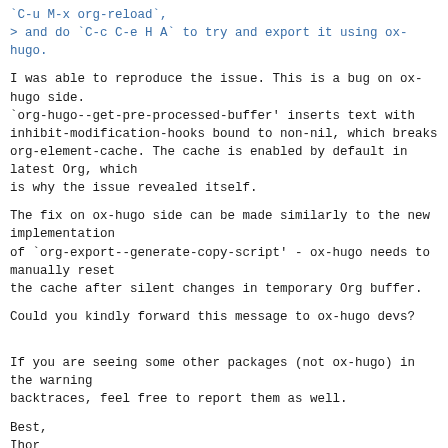`C-u M-x org-reload`,
> and do `C-c C-e H A` to try and export it using ox-hugo.
I was able to reproduce the issue. This is a bug on ox-hugo side.
`org-hugo--get-pre-processed-buffer' inserts text with inhibit-modification-hooks bound to non-nil, which breaks
org-element-cache. The cache is enabled by default in latest Org, which
is why the issue revealed itself.
The fix on ox-hugo side can be made similarly to the new implementation
of `org-export--generate-copy-script' - ox-hugo needs to manually reset
the cache after silent changes in temporary Org buffer.
Could you kindly forward this message to ox-hugo devs?
If you are seeing some other packages (not ox-hugo) in the warning
backtraces, feel free to report them as well.
Best,
Ihor